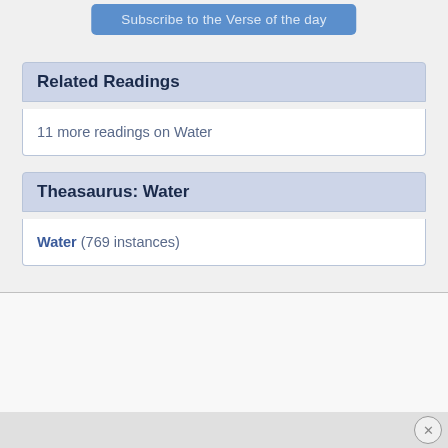[Figure (other): Blue button labeled 'Subscribe to the Verse of the day']
Related Readings
11 more readings on Water
Theasaurus: Water
Water (769 instances)